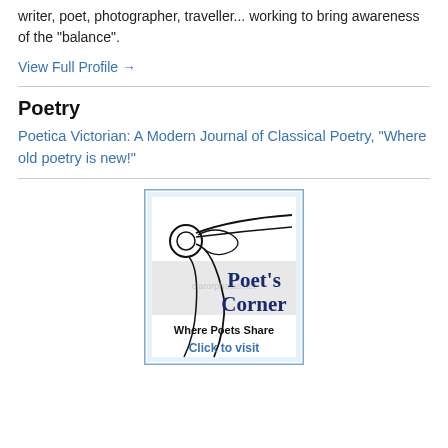writer, poet, photographer, traveller... working to bring awareness of the "balance".
View Full Profile →
Poetry
Poetica Victorian: A Modern Journal of Classical Poetry, “Where old poetry is new!”
[Figure (illustration): Poet's Corner banner image with decorative swirl/knot design, text reading 'Poet's Corner', 'Where Poets Share', 'Click to visit']